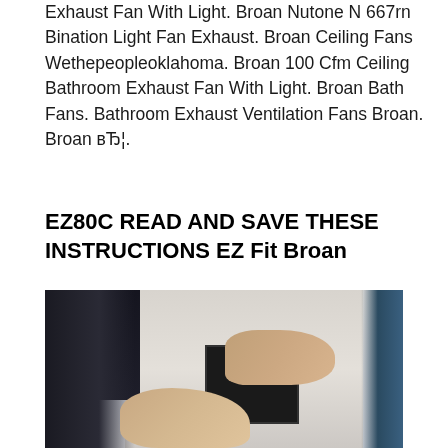Exhaust Fan With Light. Broan Nutone N 667rn Bination Light Fan Exhaust. Broan Ceiling Fans Wethepeopleoklahoma. Broan 100 Cfm Ceiling Bathroom Exhaust Fan With Light. Broan Bath Fans. Bathroom Exhaust Ventilation Fans Broan. Broan вЂ¦.
EZ80C READ AND SAVE THESE INSTRUCTIONS EZ Fit Broan
[Figure (photo): A person installing or removing a bathroom exhaust fan unit in a ceiling. Hands are shown working on a square black fan housing. Dark sleeve visible on left, blue light strip on right edge.]